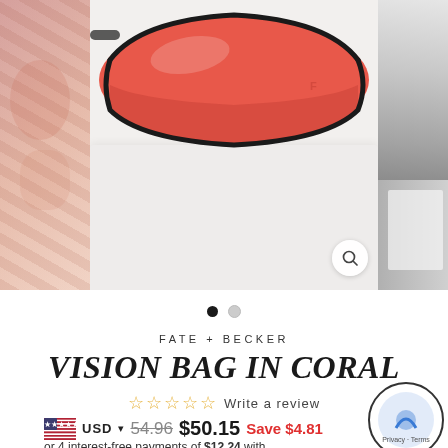[Figure (photo): Product photo of a coral/red-orange handbag (Vision Bag) displayed on a white surface. Left and right edges show partial images of clothing/accessories.]
FATE + BECKER
VISION BAG IN CORAL
☆ ☆ ☆ ☆ ☆ Write a review
USD ▾  54.96  $50.15  Save $4.81
or 4 interest-free payments of $12.24 with